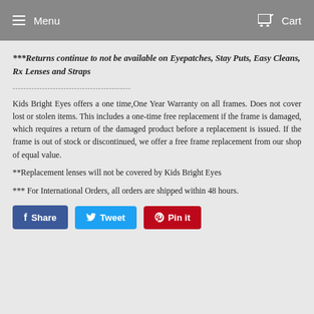Menu   Cart
***Returns continue to not be available on Eyepatches, Stay Puts, Easy Cleans, Rx Lenses and Straps
--------------------------------------------
Kids Bright Eyes offers a one time,One Year Warranty on all frames. Does not cover lost or stolen items. This includes a one-time free replacement if the frame is damaged, which requires a return of the damaged product before a replacement is issued. If the frame is out of stock or discontinued, we offer a free frame replacement from our shop of equal value.
**Replacement lenses will not be covered by Kids Bright Eyes
*** For International Orders, all orders are shipped within 48 hours.
[Figure (other): Social share buttons: Facebook Share, Twitter Tweet, Pinterest Pin it]